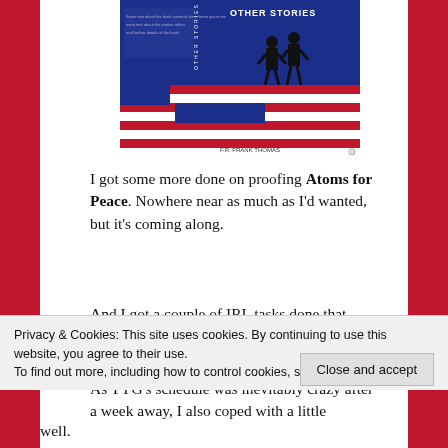[Figure (illustration): Book cover for 'Other Stories' with a blue top section showing two silhouetted figures and red-and-white horizontal stripes below, resembling the American flag.]
I got some more done on proofing Atoms for Peace. Nowhere near as much as I'd wanted, but it's coming along.
And I got a couple of IRL tasks done that needed doing.
As TYG's schedule was inevitably crazy after a week away, I also coped with a little
Privacy & Cookies: This site uses cookies. By continuing to use this website, you agree to their use.
To find out more, including how to control cookies, see here: Cookie Policy
well.